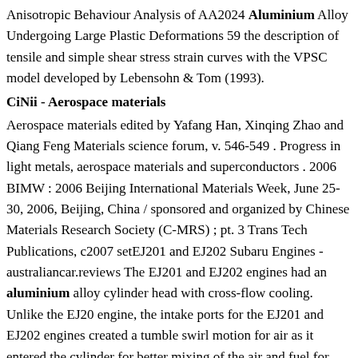Anisotropic Behaviour Analysis of AA2024 Aluminium Alloy Undergoing Large Plastic Deformations 59 the description of tensile and simple shear stress strain curves with the VPSC model developed by Lebensohn & Tom (1993).
CiNii - Aerospace materials
Aerospace materials edited by Yafang Han, Xinqing Zhao and Qiang Feng Materials science forum, v. 546-549 . Progress in light metals, aerospace materials and superconductors . 2006 BIMW : 2006 Beijing International Materials Week, June 25-30, 2006, Beijing, China / sponsored and organized by Chinese Materials Research Society (C-MRS) ; pt. 3 Trans Tech Publications, c2007 setEJ201 and EJ202 Subaru Engines - australiancar.reviews The EJ201 and EJ202 engines had an aluminium alloy cylinder head with cross-flow cooling. Unlike the EJ20 engine, the intake ports for the EJ201 and EJ202 engines created a tumble swirl motion for air as it entered the cylinder for better mixing of the air and fuel for Explosive welding of aluminum to aluminum: Analysis 6061 T0 aluminum alloy was